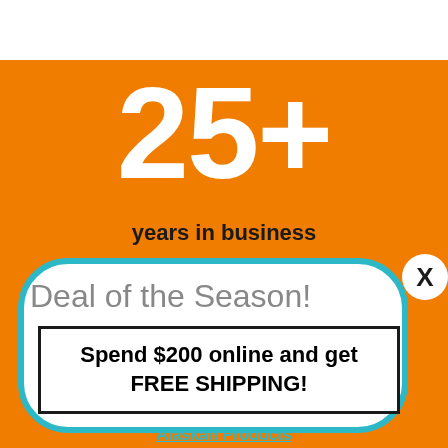25+
years in business
Deal of the Season!
Spend $200 online and get FREE SHIPPING!
Alaskan Products